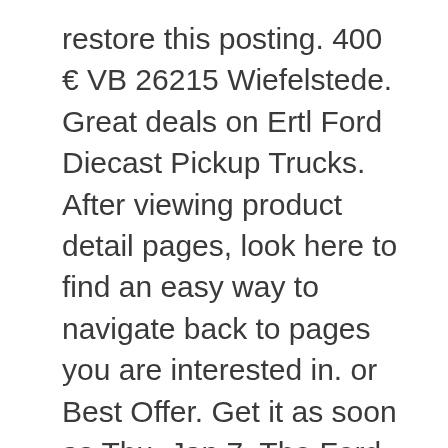restore this posting. 400 € VB 26215 Wiefelstede. Great deals on Ertl Ford Diecast Pickup Trucks. After viewing product detail pages, look here to find an easy way to navigate back to pages you are interested in. or Best Offer. Get it as soon as Thu, Jan 7. The Ford Ranger incorporates a range of smart systems to help protect you, your passengers and other road users. Check out our officially licensed 12V Battery Electric monster truck version of the extremely popular Ford Ranger in blue with front and rear lights and remote. Minicars are specialists in top quality electric ride on cars and bikes for kids, fully licenced from leading car manufacturers. 4.4 out of 5 stars 19. $34.53 $